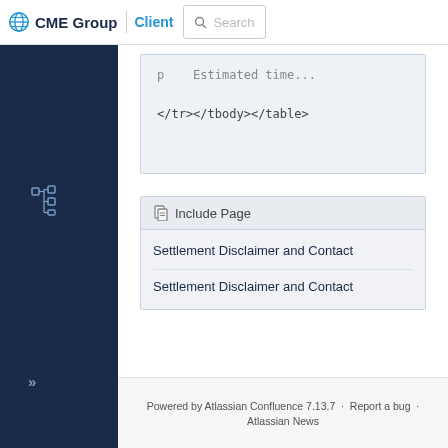CME Group | Client | Search
[Figure (screenshot): Code snippet box showing partial HTML: p ... Estimated time ... </tr></tbody></table>]
[Figure (screenshot): Include Page panel showing two entries: Settlement Disclaimer and Contact, Settlement Disclaimer and Contact]
Powered by Atlassian Confluence 7.13.7 · Report a bug · Atlassian News